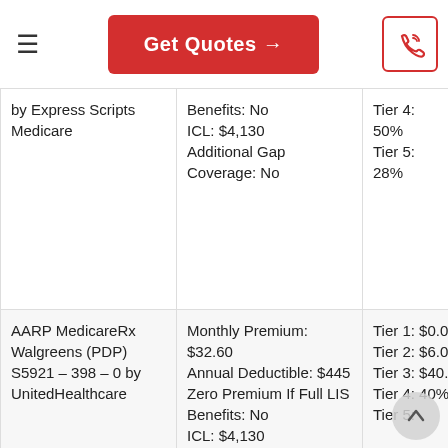≡  Get Quotes →  [phone icon]
| Plan Name | Plan Details | Drug Costs |
| --- | --- | --- |
| by Express Scripts Medicare | Benefits: No
ICL: $4,130
Additional Gap Coverage: No | Tier 4: 50%
Tier 5: 28% |
| AARP MedicareRx Walgreens (PDP) S5921 – 398 – 0 by UnitedHealthcare | Monthly Premium: $32.60
Annual Deductible: $445
Zero Premium If Full LIS Benefits: No
ICL: $4,130 | Tier 1: $0.00
Tier 2: $6.00
Tier 3: $40.00
Tier 4: 40%
Tier 5: |